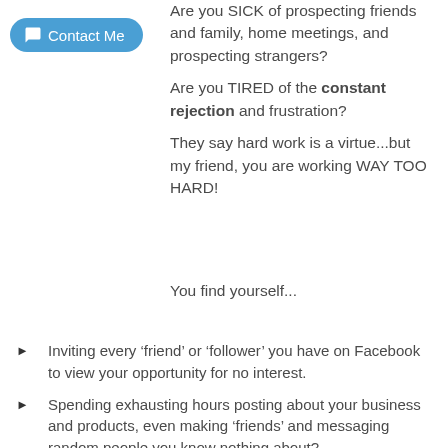[Figure (other): Blue rounded button with chat bubble icon and text 'Contact Me']
Are you SICK of prospecting friends and family, home meetings, and prospecting strangers?
Are you TIRED of the constant rejection and frustration?
They say hard work is a virtue...but my friend, you are working WAY TOO HARD!
You find yourself...
Inviting every ‘friend’ or ‘follower’ you have on Facebook to view your opportunity for no interest.
Spending exhausting hours posting about your business and products, even making ‘friends’ and messaging random people you know nothing about?
Spending all your time making calls, presenting in living rooms, demonstrating